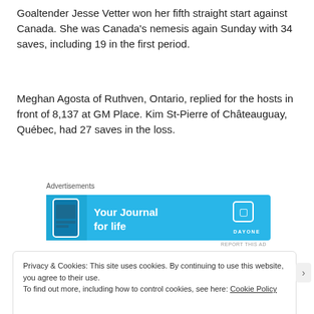Goaltender Jesse Vetter won her fifth straight start against Canada. She was Canada's nemesis again Sunday with 34 saves, including 19 in the first period.
Meghan Agosta of Ruthven, Ontario, replied for the hosts in front of 8,137 at GM Place. Kim St-Pierre of Châteauguay, Québec, had 27 saves in the loss.
Advertisements
[Figure (other): Advertisement banner: 'Your Journal for life' - Day One app promotional banner with blue background, phone image, and Day One logo]
REPORT THIS AD
Privacy & Cookies: This site uses cookies. By continuing to use this website, you agree to their use.
To find out more, including how to control cookies, see here: Cookie Policy
Close and accept